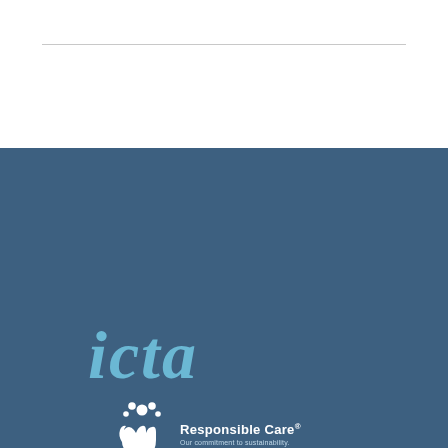[Figure (logo): ICTA logo with italic blue text 'icta' and Responsible Care logo with white hands holding circles icon, text 'Responsible Care® Our commitment to sustainability.']
International Chemical Trade Association AISBL
A:  Hogeweg 16 // 2585 JD The Hague // The Netherlands
E:  info@icta-chem.org
T:  + 31 70 750 3125
W:  www.icta-chem.org